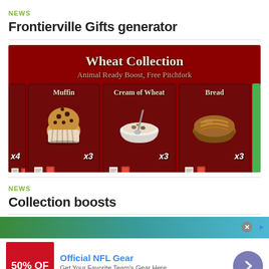NEWS
Frontierville Gifts generator
[Figure (illustration): Wheat Collection game screenshot showing three item cards: Muffin x3, Cream of Wheat x3, Bread x3, with subtitle 'Animal Ready Boost, Free Pitchfork']
NEWS
Collection boosts
[Figure (infographic): Advertisement for Official NFL Gear showing 50% OFF banner, headline 'Official NFL Gear', description 'Get Your Favorite Team's Gear Here', URL www.nflshop.com, and a circular arrow button]